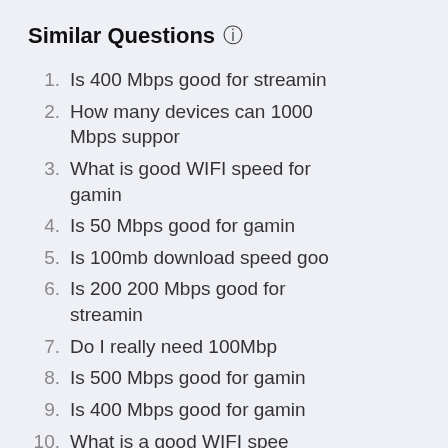Similar Questions
Is 400 Mbps good for streamin
How many devices can 1000 Mbps suppor
What is good WIFI speed for gamin
Is 50 Mbps good for gamin
Is 100mb download speed goo
Is 200 200 Mbps good for streamin
Do I really need 100Mbp
Is 500 Mbps good for gamin
Is 400 Mbps good for gamin
What is a good WIFI spee